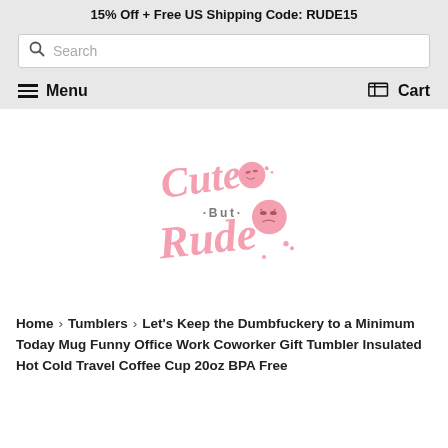15% Off + Free US Shipping Code: RUDE15
[Figure (screenshot): Search bar with magnifying glass icon and placeholder text 'Search']
[Figure (screenshot): Navigation bar with Menu (hamburger icon) on left and Cart (cart icon) on right]
[Figure (logo): Cute But Rude brand logo in pink script lettering with two kawaii emoji faces]
Home › Tumblers › Let's Keep the Dumbfuckery to a Minimum Today Mug Funny Office Work Coworker Gift Tumbler Insulated Hot Cold Travel Coffee Cup 20oz BPA Free